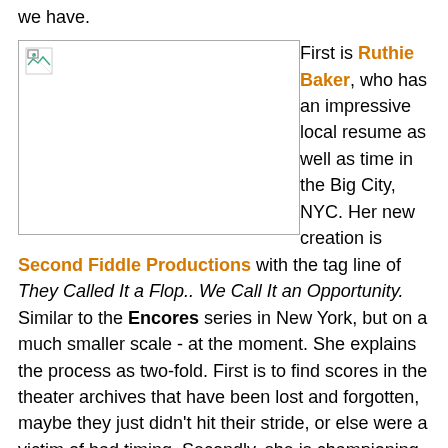we have.
[Figure (photo): A placeholder broken image box with a broken image icon in the top-left corner]
First is Ruthie Baker, who has an impressive local resume as well as time in the Big City, NYC. Her new creation is Second Fiddle Productions with the tag line of They Called It a Flop.. We Call It an Opportunity. Similar to the Encores series in New York, but on a much smaller scale - at the moment. She explains the process as two-fold. First is to find scores in the theater archives that have been lost and forgotten, maybe they just didn't hit their stride, or else were a victim of bad timing. Secondly, she is championing the unsung heroes of the local community and trying to give them that chance to step out from ensemble work or stereotypes and spread their wings in roles that really challenge them. Like us, they